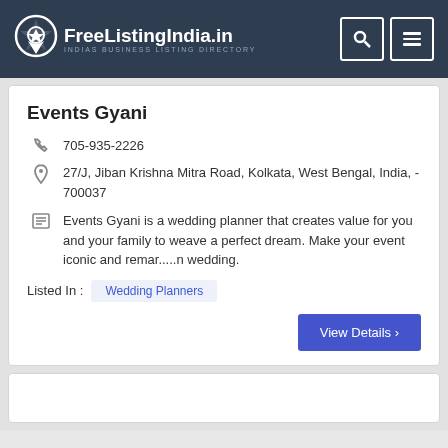FreeListingIndia.in — INDIAS BUSINESS LISTING DIRECTORY
Events Gyani
705-935-2226
27/J, Jiban Krishna Mitra Road, Kolkata, West Bengal, India, - 700037
Events Gyani is a wedding planner that creates value for you and your family to weave a perfect dream. Make your event iconic and remar.....n wedding.
Listed In :  Wedding Planners
View Details ›